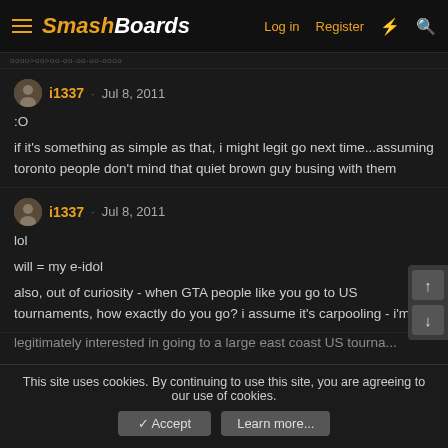SmashBoards · Log in · Register
i1337 · Jul 8, 2011
:O

if it's something as simple as that, i might legit go next time...assuming toronto people don't mind that quiet brown guy busing with them
i1337 · Jul 8, 2011
lol

will = my e-idol

also, out of curiosity - when GTA people like you go to US tournaments, how exactly do you go? i assume it's carpooling - i'm legitimately interested in going to a large east coast US tourna...
This site uses cookies. By continuing to use this site, you are agreeing to our use of cookies.